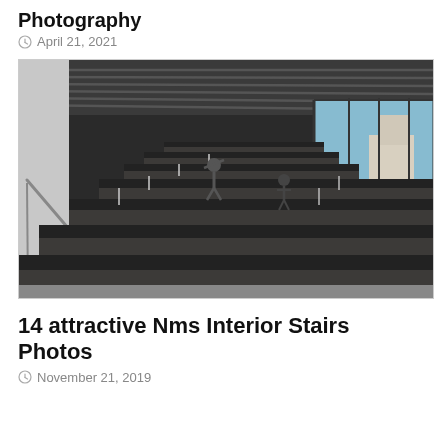Photography
April 21, 2021
[Figure (photo): Architectural interior rendering of a wide staircase with dark steps, white walls, handrail on the left, large glass windows/facade at the far end showing outdoor landscape, with two human figures on the stairs.]
14 attractive Nms Interior Stairs Photos
November 21, 2019